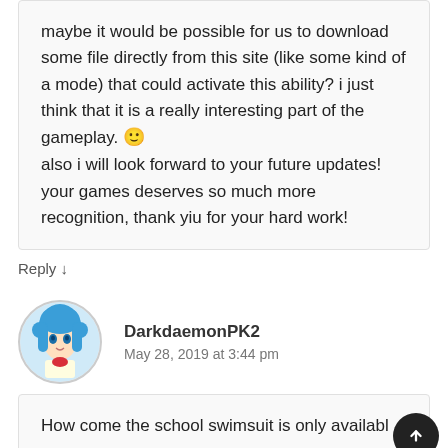maybe it would be possible for us to download some file directly from this site (like some kind of a mode) that could activate this ability? i just think that it is a really interesting part of the gameplay. 🙂
also i will look forward to your future updates! your games deserves so much more recognition, thank yiu for your hard work!
Reply ↓
DarkdaemonPK2
May 28, 2019 at 3:44 pm
How come the school swimsuit is only available in the PC version? Will it be also available in